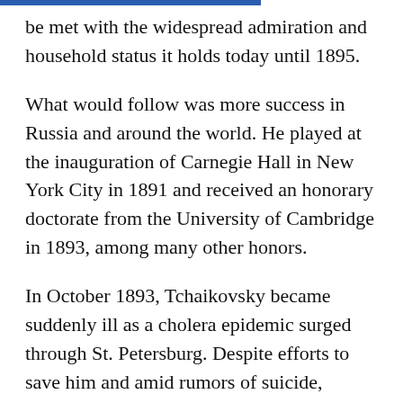be met with the widespread admiration and household status it holds today until 1895.
What would follow was more success in Russia and around the world. He played at the inauguration of Carnegie Hall in New York City in 1891 and received an honorary doctorate from the University of Cambridge in 1893, among many other honors.
In October 1893, Tchaikovsky became suddenly ill as a cholera epidemic surged through St. Petersburg. Despite efforts to save him and amid rumors of suicide, Tchaikovsky died in early November.
Today, many of his works continue to be played and